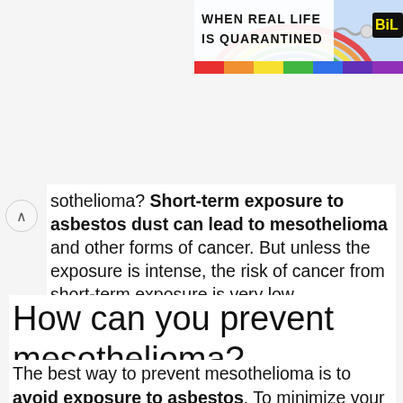[Figure (screenshot): Partial banner advertisement showing rainbow colors with text 'WHEN REAL LIFE IS QUARANTINED' and 'BitL' logo in yellow on dark background]
sothelioma? Short-term exposure to asbestos dust can lead to mesothelioma and other forms of cancer. But unless the exposure is intense, the risk of cancer from short-term exposure is very low.
How can you prevent mesothelioma?
The best way to prevent mesothelioma is to avoid exposure to asbestos. To minimize your risk, always wear protective gear and follow safety precautions when working with